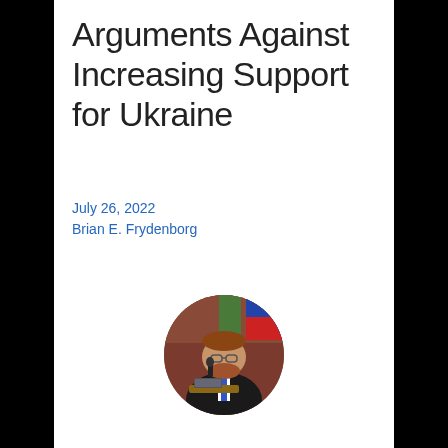Arguments Against Increasing Support for Ukraine
July 26, 2022
Brian E. Frydenborg
[Figure (photo): Circular profile photo of Brian E. Frydenborg, a bearded man in a dark suit and blue tie, speaking at a podium with a microphone, with flags visible in the background.]